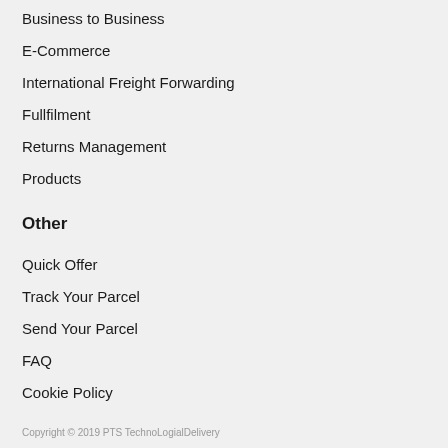Business to Business
E-Commerce
International Freight Forwarding
Fullfilment
Returns Management
Products
Other
Quick Offer
Track Your Parcel
Send Your Parcel
FAQ
Cookie Policy
Copyright © 2019 PTS TechnoLogialDelivery